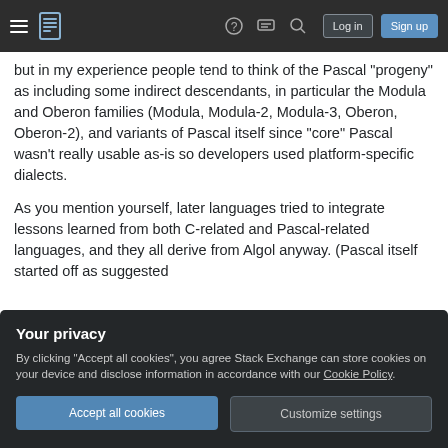Stack Exchange navigation bar with hamburger menu, logo, help, chat, search icons, Log in and Sign up buttons
but in my experience people tend to think of the Pascal “progeny” as including some indirect descendants, in particular the Modula and Oberon families (Modula, Modula-2, Modula-3, Oberon, Oberon-2), and variants of Pascal itself since “core” Pascal wasn’t really usable as-is so developers used platform-specific dialects.
As you mention yourself, later languages tried to integrate lessons learned from both C-related and Pascal-related languages, and they all derive from Algol anyway. (Pascal itself started off as suggested
Your privacy
By clicking “Accept all cookies”, you agree Stack Exchange can store cookies on your device and disclose information in accordance with our Cookie Policy.
Accept all cookies
Customize settings